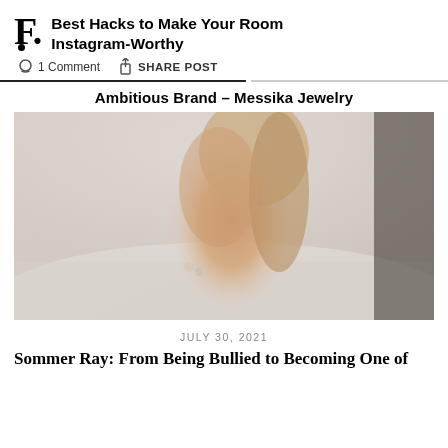Best Hacks to Make Your Room Instagram-Worthy
1 Comment  SHARE POST
Ambitious Brand – Messika Jewelry
[Figure (photo): A woman in a nude bodysuit posing on white bedding, wearing diamond rings, promotional photo for Messika Jewelry]
JULY 30, 2021
Sommer Ray: From Being Bullied to Becoming One of